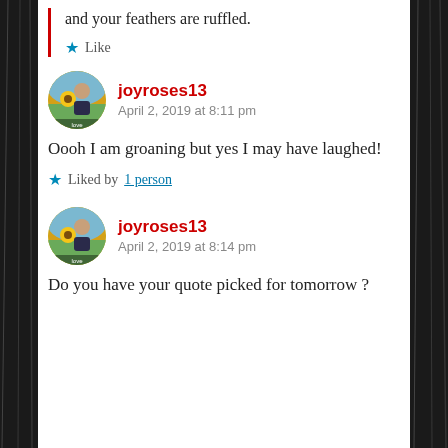and your feathers are ruffled.
Like
joyroses13
April 2, 2019 at 8:11 pm
Oooh I am groaning but yes I may have laughed!
Liked by 1 person
joyroses13
April 2, 2019 at 8:14 pm
Do you have your quote picked for tomorrow ?